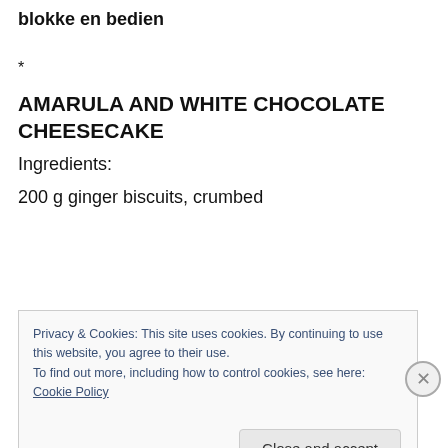blokke en bedien
*
AMARULA AND WHITE CHOCOLATE CHEESECAKE
Ingredients:
200 g ginger biscuits, crumbed
Privacy & Cookies: This site uses cookies. By continuing to use this website, you agree to their use.
To find out more, including how to control cookies, see here: Cookie Policy